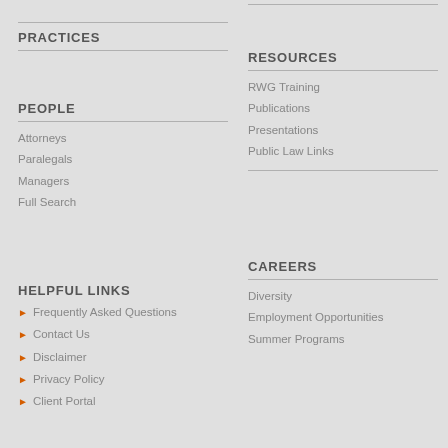PRACTICES
RESOURCES
RWG Training
Publications
Presentations
Public Law Links
PEOPLE
Attorneys
Paralegals
Managers
Full Search
CAREERS
Diversity
Employment Opportunities
Summer Programs
HELPFUL LINKS
Frequently Asked Questions
Contact Us
Disclaimer
Privacy Policy
Client Portal